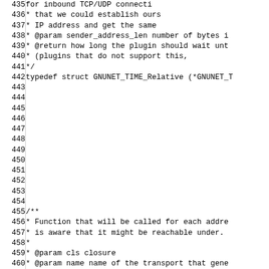Source code listing showing C documentation comments and typedef declaration, lines 435-465